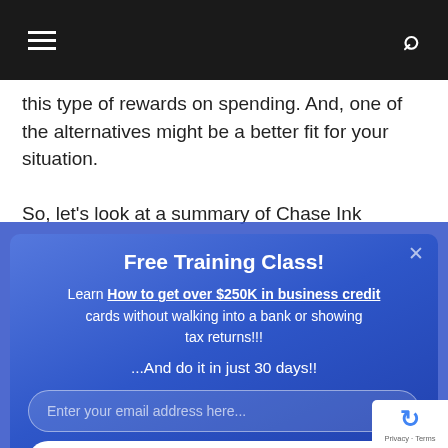Navigation bar with hamburger menu and search icon
this type of rewards on spending. And, one of the alternatives might be a better fit for your situation.
So, let's look at a summary of Chase Ink Preferred, Amex
Free Training Class!
Learn How to get over $250K in business credit cards without walking into a bank or showing tax returns!!!
…And do it in just 30 days!!
Enter your email address here...
REGISTER ON NEXT PAGE! →